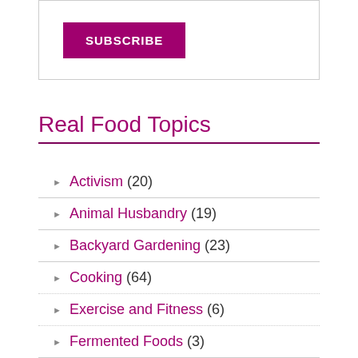[Figure (other): Subscribe button inside a bordered box]
Real Food Topics
Activism (20)
Animal Husbandry (19)
Backyard Gardening (23)
Cooking (64)
Exercise and Fitness (6)
Fermented Foods (3)
Food Politics (186)
Food Tradition (19)
Funny Stuff (21)
Heroes of Sustainable Agriculture